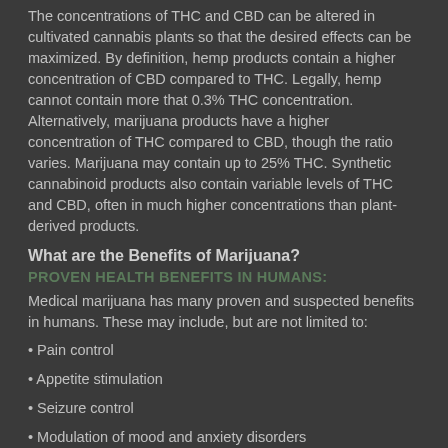The concentrations of THC and CBD can be altered in cultivated cannabis plants so that the desired effects can be maximized. By definition, hemp products contain a higher concentration of CBD compared to THC. Legally, hemp cannot contain more that 0.3% THC concentration. Alternatively, marijuana products have a higher concentration of THC compared to CBD, though the ratio varies. Marijuana may contain up to 25% THC. Synthetic cannabinoid products also contain variable levels of THC and CBD, often in much higher concentrations than plant-derived products.
What are the Benefits of Marijuana?
PROVEN HEALTH BENEFITS IN HUMANS:
Medical marijuana has many proven and suspected benefits in humans. These may include, but are not limited to:
Pain control
Appetite stimulation
Seizure control
Modulation of mood and anxiety disorders